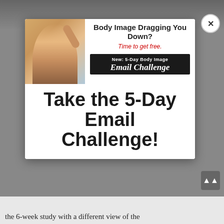[Figure (screenshot): Website screenshot with a modal popup overlay. Background shows a dimmed webpage with a photo of people. A white modal dialog contains an ad banner and call-to-action text. Ad banner shows a woman raising her arm with text 'Body Image Dragging You Down? Time to get free.' and a black badge 'New: 5-Day Body Image Email Challenge'. Modal CTA reads 'Take the 5-Day Email Challenge!'. A close button (X) appears top right of modal.]
the 6-week study with a different view of the